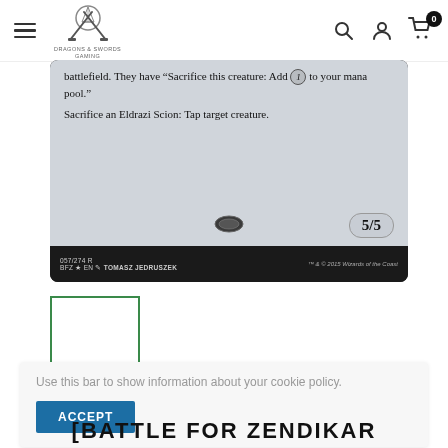Dragons & Swords gaming store navigation bar with hamburger menu, logo, search, account, and cart icons
[Figure (photo): Bottom portion of a Magic: The Gathering card - Battle for Zendikar set. Card text reads: 'battlefield. They have "Sacrifice this creature: Add 1 to your mana pool." Sacrifice an Eldrazi Scion: Tap target creature.' Power/toughness 5/5. Footer: 057/274 R, BFZ EN, Tomasz Jedruszek, TM & C 2015 Wizards of the Coast]
[Figure (photo): Small thumbnail image of the same Magic card with green border outline, shown below the main card image]
Use this bar to show information about your cookie policy.
ACCEPT
[BATTLE FOR ZENDIKAR